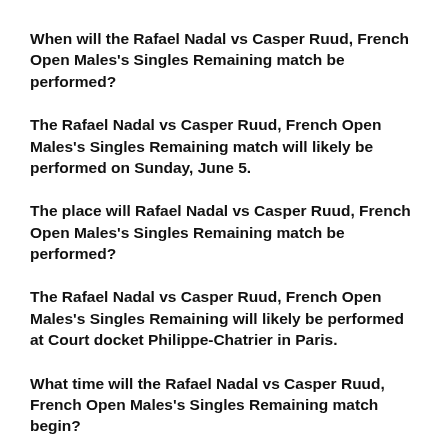When will the Rafael Nadal vs Casper Ruud, French Open Males's Singles Remaining match be performed?
The Rafael Nadal vs Casper Ruud, French Open Males's Singles Remaining match will likely be performed on Sunday, June 5.
The place will Rafael Nadal vs Casper Ruud, French Open Males's Singles Remaining match be performed?
The Rafael Nadal vs Casper Ruud, French Open Males's Singles Remaining will likely be performed at Court docket Philippe-Chatrier in Paris.
What time will the Rafael Nadal vs Casper Ruud, French Open Males's Singles Remaining match begin?